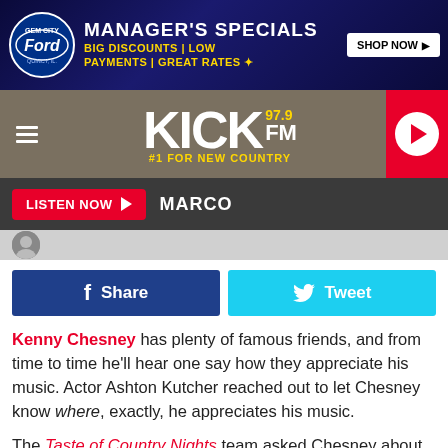[Figure (screenshot): Gem City Ford advertisement banner: Manager's Specials, Big Discounts, Low Payments, Great Rates, Shop Now button]
[Figure (logo): KICK 97.9 FM - #1 For New Country radio station header with hamburger menu and play button]
LISTEN NOW ▶  MARCO
[Figure (screenshot): Small profile thumbnail image]
[Figure (screenshot): Facebook Share and Twitter Tweet social sharing buttons]
Kenny Chesney has plenty of famous friends, and from time to time he'll hear one say how they appreciate his music. Actor Ashton Kutcher reached out to let Chesney know where, exactly, he appreciates his music.
The Taste of Country Nights team asked Chesney about some of the celebrity comments on his social media posts.